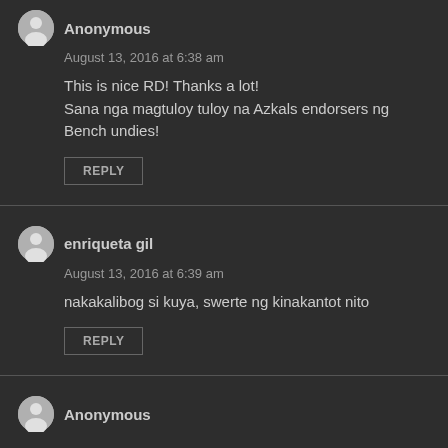Anonymous
August 13, 2016 at 6:38 am
This is nice RD! Thanks a lot!
Sana nga magtuloy tuloy na Azkals endorsers ng Bench undies!
REPLY
enriqueta gil
August 13, 2016 at 6:39 am
nakakalibog si kuya, swerte ng kinakantot nito
REPLY
Anonymous